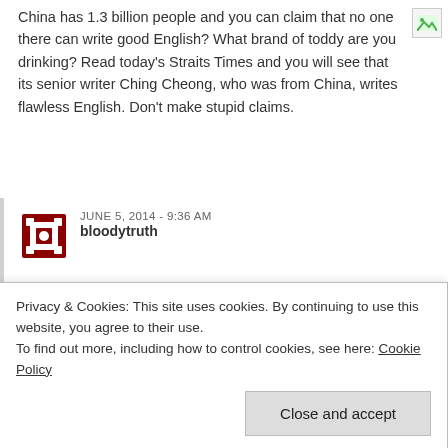China has 1.3 billion people and you can claim that no one there can write good English? What brand of toddy are you drinking? Read today's Straits Times and you will see that its senior writer Ching Cheong, who was from China, writes flawless English. Don't make stupid claims.
JUNE 5, 2014 - 9:36 AM
bloodytruth
@cleareye agreed, maybe roy can admitted he is a dog too and may be forgiven by our PM.
JUNE 5, 2014 - 7:41 PM
Norman Wee
Privacy & Cookies: This site uses cookies. By continuing to use this website, you agree to their use.
To find out more, including how to control cookies, see here: Cookie Policy
Close and accept
JUNE 4, 2014 - 1:07 PM